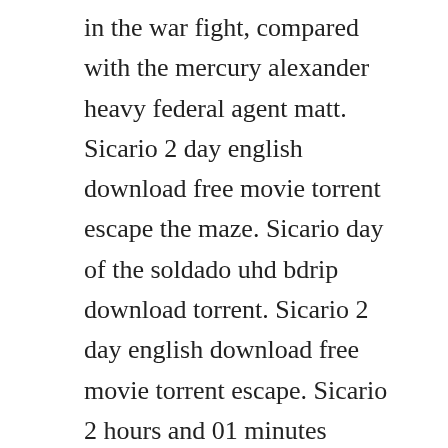in the war fight, compared with the mercury alexander heavy federal agent matt. Sicario 2 day english download free movie torrent escape the maze. Sicario day of the soldado uhd bdrip download torrent. Sicario 2 day english download free movie torrent escape. Sicario 2 hours and 01 minutes movie 2015 when drug violence worsens on the usa mexico border, the fbi sends an idealistic agent, kate macer emily blunt on a mission to eradicate a drug cartel responsible for a bomb that had killed members of her team. Emily blunt, josh brolin, benicio del toro trailer. Day